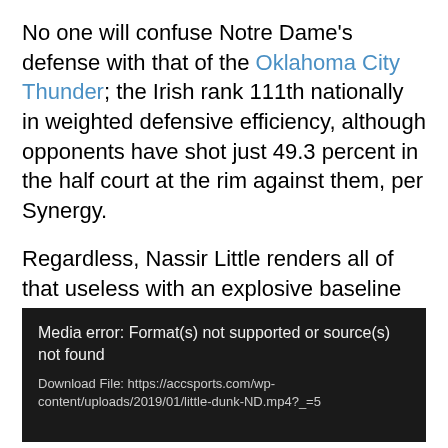No one will confuse Notre Dame's defense with that of the Oklahoma City Thunder; the Irish rank 111th nationally in weighted defensive efficiency, although opponents have shot just 49.3 percent in the half court at the rim against them, per Synergy.
Regardless, Nassir Little renders all of that useless with an explosive baseline drive against the 6-foot-11 Juwan Durham. Little goes from stationary to kicking up dust in Durham's face in a blink.
[Figure (screenshot): Media player error box with dark background showing: 'Media error: Format(s) not supported or source(s) not found' and 'Download File: https://accsports.com/wp-content/uploads/2019/01/little-dunk-ND.mp4?_=5']